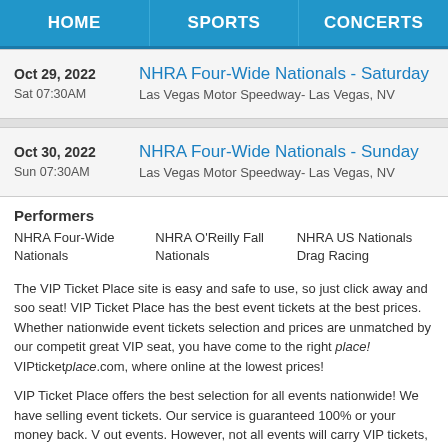HOME | SPORTS | CONCERTS
| Date | Event |
| --- | --- |
| Oct 29, 2022
Sat 07:30AM | NHRA Four-Wide Nationals - Saturday
Las Vegas Motor Speedway- Las Vegas, NV |
| Oct 30, 2022
Sun 07:30AM | NHRA Four-Wide Nationals - Sunday
Las Vegas Motor Speedway- Las Vegas, NV |
Performers
NHRA Four-Wide Nationals
NHRA O'Reilly Fall Nationals
NHRA US Nationals Drag Racing
The VIP Ticket Place site is easy and safe to use, so just click away and soon you will have a great seat! VIP Ticket Place has the best event tickets at the best prices. Whether you need nationwide event tickets selection and prices are unmatched by our competitors. If you need a great VIP seat, you have come to the right place! VIPticketplace.com, where you can buy tickets online at the lowest prices!
VIP Ticket Place offers the best selection for all events nationwide! We have been in business selling event tickets. Our service is guaranteed 100% or your money back. We even have sold out events. However, not all events will carry VIP tickets, please be sure to review our site.
We also stock great regular tickets for all events! VIP Ticket Place can accommodate the best shows exaclty from where you will be enjoying your event. VIP Ticket Place s